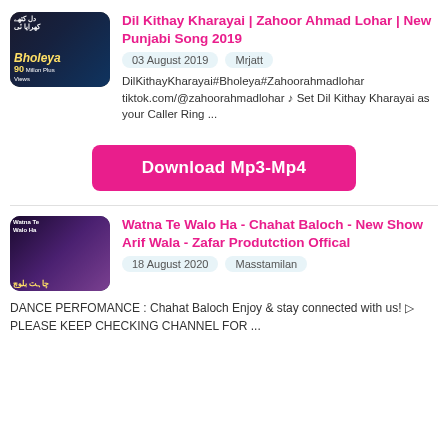[Figure (screenshot): Thumbnail image for Dil Kithay Kharayai video with text Bholeya and 90 Million Plus Views]
Dil Kithay Kharayai | Zahoor Ahmad Lohar | New Punjabi Song 2019
03 August 2019   Mrjatt
DilKithayKharayai#Bholeya#Zahoorahmadlohar tiktok.com/@zahoorahmadlohar ♪ Set Dil Kithay Kharayai as your Caller Ring ...
[Figure (screenshot): Download Mp3-Mp4 button]
[Figure (screenshot): Thumbnail image for Watna Te Walo Ha - Chahat Baloch video]
Watna Te Walo Ha - Chahat Baloch - New Show Arif Wala - Zafar Produtction Offical
18 August 2020   Masstamilan
DANCE PERFOMANCE : Chahat Baloch Enjoy & stay connected with us! ▷ PLEASE KEEP CHECKING CHANNEL FOR ...